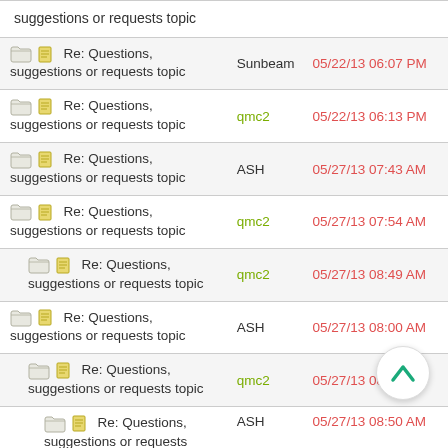| Topic | User | Date/Time |
| --- | --- | --- |
| suggestions or requests topic |  |  |
| Re: Questions, suggestions or requests topic | Sunbeam | 05/22/13 06:07 PM |
| Re: Questions, suggestions or requests topic | qmc2 | 05/22/13 06:13 PM |
| Re: Questions, suggestions or requests topic | ASH | 05/27/13 07:43 AM |
| Re: Questions, suggestions or requests topic | qmc2 | 05/27/13 07:54 AM |
| Re: Questions, suggestions or requests topic | qmc2 | 05/27/13 08:49 AM |
| Re: Questions, suggestions or requests topic | ASH | 05/27/13 08:00 AM |
| Re: Questions, suggestions or requests topic | qmc2 | 05/27/13 08:24 AM |
| Re: Questions, suggestions or requests topic | ASH | 05/27/13 08:50 AM |
| Re: Questions, | qmc2 | 05/27/13 09:06 AM |